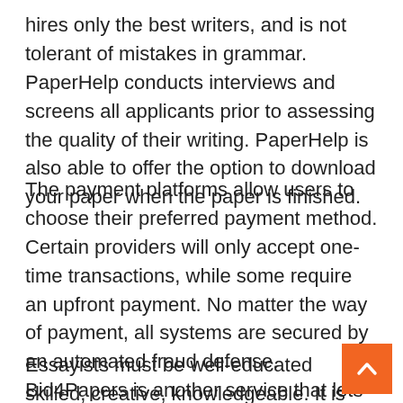hires only the best writers, and is not tolerant of mistakes in grammar. PaperHelp conducts interviews and screens all applicants prior to assessing the quality of their writing. PaperHelp is also able to offer the option to download your paper when the paper is finished.
The payment platforms allow users to choose their preferred payment method. Certain providers will only accept one-time transactions, while some require an upfront payment. No matter the way of payment, all systems are secured by an automated fraud defense. Bid4Papers is another service that lets you communicate directly with the author. It is guaranteed that the work you purchase is of the same quality as your own.
Essayists must be well-educated skilled, creative, knowledgeable. It is also important to be able to communicate with them to inquire about their progress